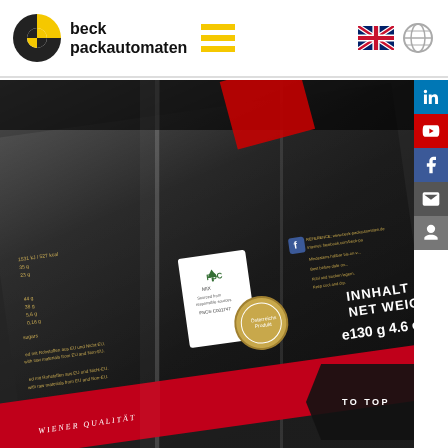[Figure (logo): Beck Packautomaten company logo with black and yellow quadrant circle icon and company name]
[Figure (photo): Close-up photo of packaging machine applying clear plastic film wrapping to a dark chocolate box, showing FSC label, nutritional information, INNHALT NET WEIGHT 130g 4.6 OZ text, and various packaging details]
TO TOP